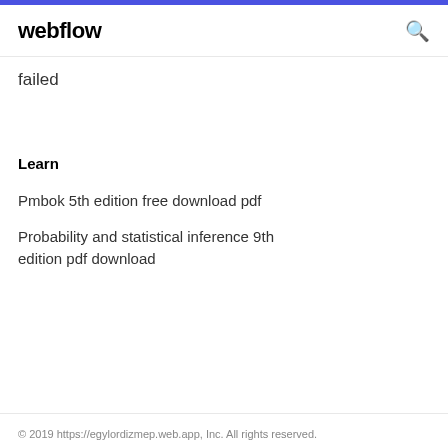webflow
failed
Learn
Pmbok 5th edition free download pdf
Probability and statistical inference 9th edition pdf download
© 2019 https://egylordizmep.web.app, Inc. All rights reserved.